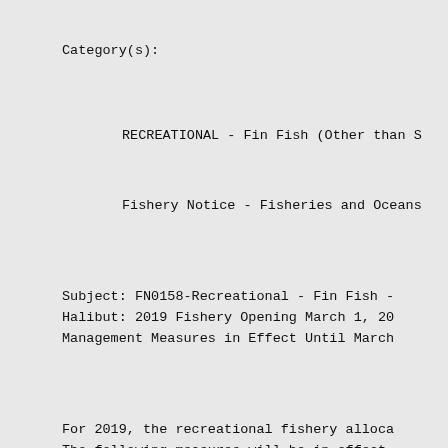Category(s):
RECREATIONAL - Fin Fish (Other than S
Fishery Notice - Fisheries and Oceans
Subject: FN0158-Recreational - Fin Fish -
Halibut: 2019 Fishery Opening March 1, 20
Management Measures in Effect Until March
For 2019, the recreational fishery alloca
The following measures will be in effect
Further updates on the fishing regulation
will be provided
later in March 2019.